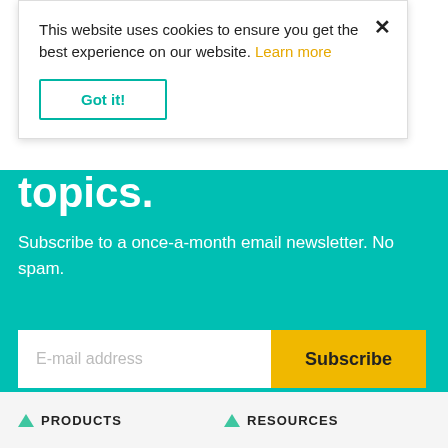This website uses cookies to ensure you get the best experience on our website. Learn more
Got it!
topics.
Subscribe to a once-a-month email newsletter. No spam.
E-mail address
Subscribe
PRODUCTS
RESOURCES